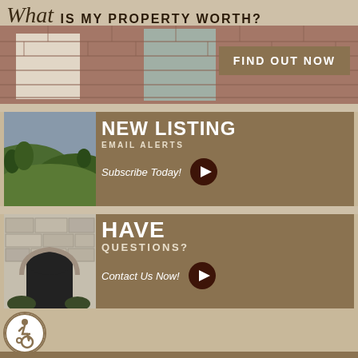[Figure (infographic): Top banner with brick building background, script 'What' heading and 'IS MY PROPERTY WORTH?' text, with a 'FIND OUT NOW' button]
[Figure (infographic): Middle card with green landscape photo on left, tan/brown background on right with 'NEW LISTING EMAIL ALERTS Subscribe Today!' text and play button]
[Figure (infographic): Bottom card with stone building doorway photo on left, tan/brown background on right with 'HAVE QUESTIONS? Contact Us Now!' text and play button]
[Figure (infographic): Accessibility wheelchair icon in bottom left corner]